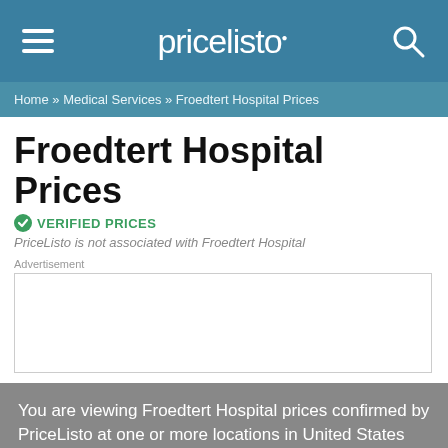pricelisto
Home » Medical Services » Froedtert Hospital Prices
Froedtert Hospital Prices
✔ VERIFIED PRICES
PriceListo is not associated with Froedtert Hospital
Advertisement
[Figure (other): Advertisement placeholder box]
You are viewing Froedtert Hospital prices confirmed by PriceListo at one or more locations in United States
Find location...
Prices shown in:
Average Item Price: